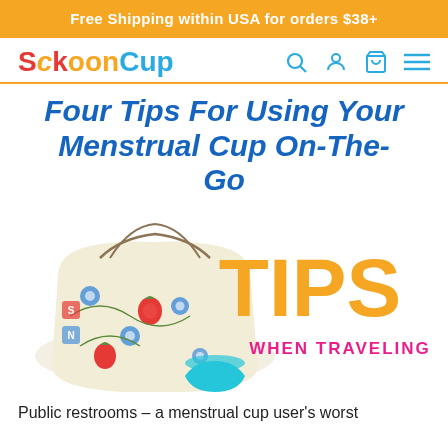Free Shipping within USA for orders $38+
SckoonCup
Four Tips For Using Your Menstrual Cup On-The-Go
[Figure (illustration): A decorative drawstring bag with floral pattern featuring blue flowers, red strawberries, and green leaves on a cream background, with a teal menstrual cup partially visible at the bottom right. Large orange text 'TIPS' overlays the right side with pink text 'WHEN TRAVELING' below it.]
Public restrooms – a menstrual cup user's worst